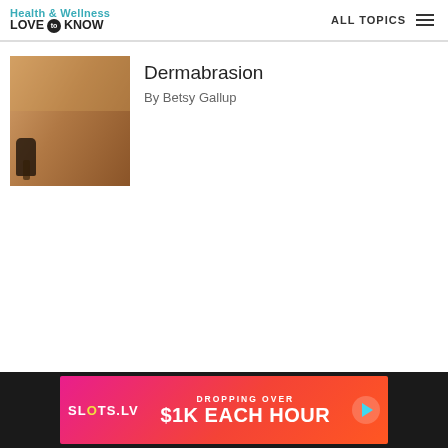Health & Wellness LOVE TO KNOW — ALL TOPICS
[Figure (photo): Close-up photo of dermabrasion procedure being performed on skin, warm tone image showing medical instrument on skin]
Dermabrasion
By Betsy Gallup
[Figure (infographic): Advertisement banner for SLOTS.LV: DROPPING OVER $1K EACH HOUR]